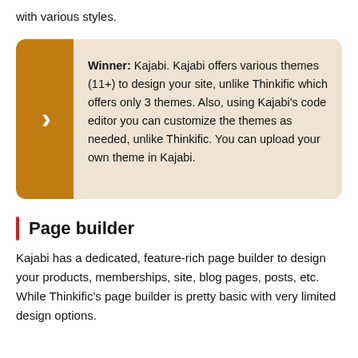with various styles.
Winner: Kajabi. Kajabi offers various themes (11+) to design your site, unlike Thinkific which offers only 3 themes. Also, using Kajabi's code editor you can customize the themes as needed, unlike Thinkific. You can upload your own theme in Kajabi.
Page builder
Kajabi has a dedicated, feature-rich page builder to design your products, memberships, site, blog pages, posts, etc. While Thinkific's page builder is pretty basic with very limited design options.